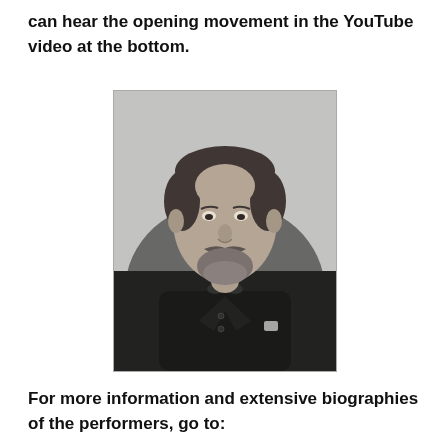can hear the opening movement in the YouTube video at the bottom.
[Figure (photo): Black and white portrait photograph of an elderly gentleman with a mustache and beard, wearing a dark suit with a bow tie, photographed from the chest up in a formal pose.]
For more information and extensive biographies of the performers, go to: